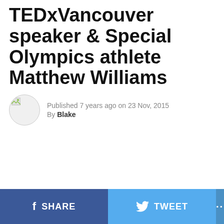TEDxVancouver speaker & Special Olympics athlete Matthew Williams
Published 7 years ago on 23 Nov, 2015
By Blake
SHARE  TWEET  ...